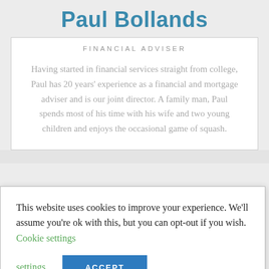Paul Bollands
FINANCIAL ADVISER
Having started in financial services straight from college, Paul has 20 years' experience as a financial and mortgage adviser and is our joint director. A family man, Paul spends most of his time with his wife and two young children and enjoys the occasional game of squash.
This website uses cookies to improve your experience. We'll assume you're ok with this, but you can opt-out if you wish. Cookie settings ACCEPT
Originally from Sunderland (and still a